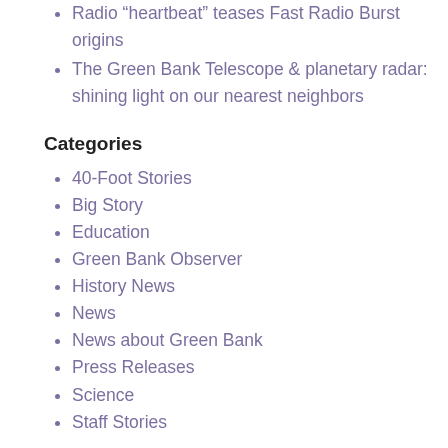Radio “heapbeat” teases Fast Radio Burst origins
The Green Bank Telescope & planetary radar: shining light on our nearest neighbors
Categories
40-Foot Stories
Big Story
Education
Green Bank Observer
History News
News
News about Green Bank
Press Releases
Science
Staff Stories